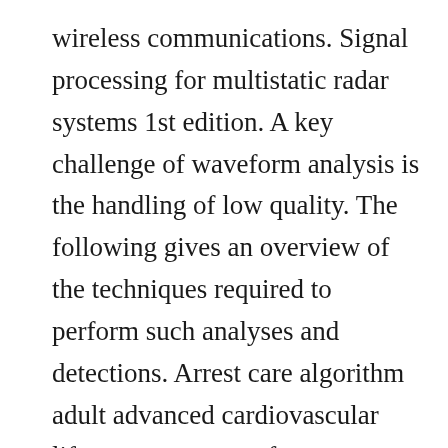wireless communications. Signal processing for multistatic radar systems 1st edition. A key challenge of waveform analysis is the handling of low quality. The following gives an overview of the techniques required to perform such analyses and detections. Arrest care algorithm adult advanced cardiovascular life support return of spontaneous circulation rosc optimize ventilation and oxygenation maintain oxygen saturation e94% consider advanced airway and waveform capnography do not hyperventilate treat hypotension sbp